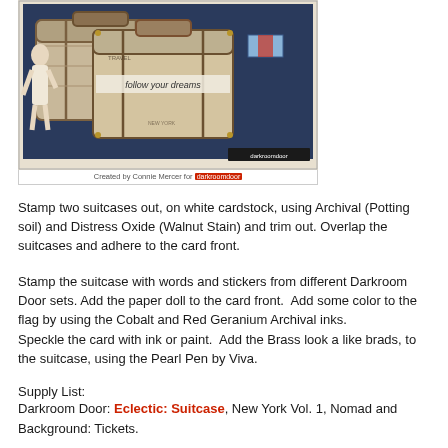[Figure (photo): Photo of a handmade card featuring overlapping suitcase stamps with the text 'follow your dreams', paper doll, and vintage styling. Caption reads 'Created by Connie Mercer for darkroomdoor']
Stamp two suitcases out, on white cardstock, using Archival (Potting soil) and Distress Oxide (Walnut Stain) and trim out. Overlap the suitcases and adhere to the card front.
Stamp the suitcase with words and stickers from different Darkroom Door sets. Add the paper doll to the card front.  Add some color to the flag by using the Cobalt and Red Geranium Archival inks. Speckle the card with ink or paint.  Add the Brass look a like brads, to the suitcase, using the Pearl Pen by Viva.
Supply List:
Darkroom Door: Eclectic: Suitcase, New York Vol. 1, Nomad and Background: Tickets.
Ink: Archival: Cobalt, Jet Black, Red Geranium and Potting Soil
Ink: Distress Oxide: Walnut Stain
Other:
Pearl Pen: Viva/Bronze
Paper Dolls: Tim Holtz Idea-ology